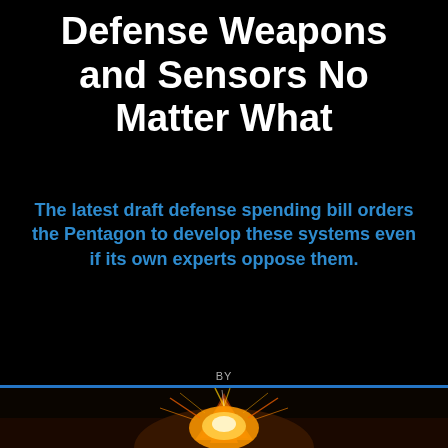Defense Weapons and Sensors No Matter What
The latest draft defense spending bill orders the Pentagon to develop these systems even if its own experts oppose them.
BY
JOSEPH TREVITHICK
JUL 1, 2019 5:41 AM
THE WAR ZONE
[Figure (photo): Explosion fireball photograph at the bottom of the page]